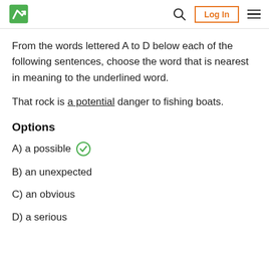Logo | Search | Log In | Menu
From the words lettered A to D below each of the following sentences, choose the word that is nearest in meaning to the underlined word.
That rock is a potential danger to fishing boats.
Options
A) a possible ✓
B) an unexpected
C) an obvious
D) a serious